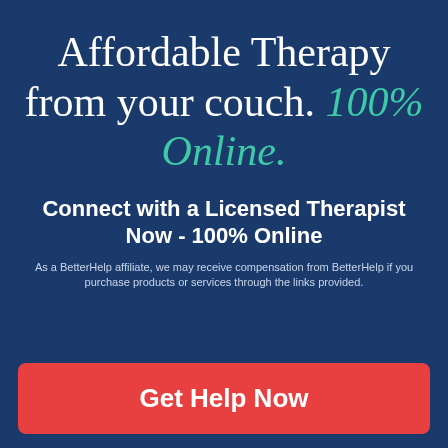Affordable Therapy from your couch. 100% Online.
Connect with a Licensed Therapist Now - 100% Online
As a BetterHelp affiliate, we may receive compensation from BetterHelp if you purchase products or services through the links provided.
Get Help Now